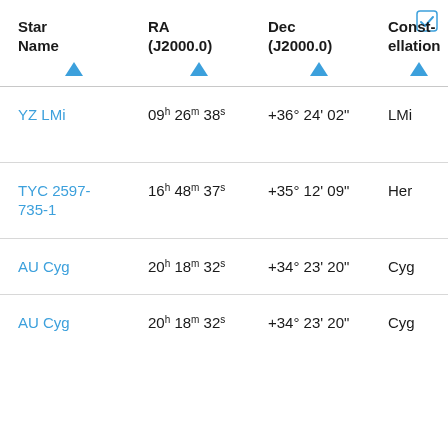| Star Name | RA (J2000.0) | Dec (J2000.0) | Const-ellation | V T |
| --- | --- | --- | --- | --- |
| YZ LMi | 09h 26m 38s | +36° 24' 02" | LMi | U B |
| TYC 2597-735-1 | 16h 48m 37s | +35° 12' 09" | Her | C |
| AU Cyg | 20h 18m 32s | +34° 23' 20" | Cyg | M |
| AU Cyg | 20h 18m 32s | +34° 23' 20" | Cyg | M |